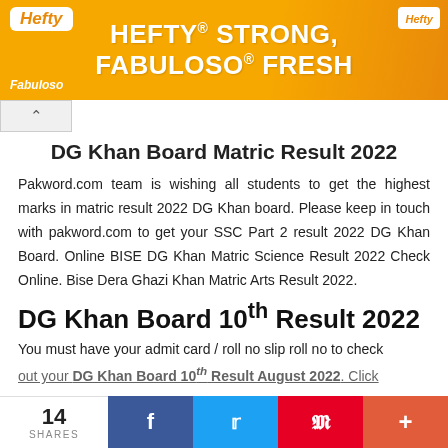[Figure (advertisement): Hefty brand advertisement banner with orange background. Text reads 'HEFTY STRONG, FABULOSO FRESH' in white bold letters. Hefty logo top-left and top-right, Fabuloso logo bottom-left.]
DG Khan Board Matric Result 2022
Pakword.com team is wishing all students to get the highest marks in matric result 2022 DG Khan board. Please keep in touch with pakword.com to get your SSC Part 2 result 2022 DG Khan Board. Online BISE DG Khan Matric Science Result 2022 Check Online. Bise Dera Ghazi Khan Matric Arts Result 2022.
DG Khan Board 10th Result 2022
You must have your admit card / roll no slip roll no to check out your DG Khan Board 10th Result August 2022. Click
14 SHARES  [Facebook] [Twitter] [Pinterest] [+]